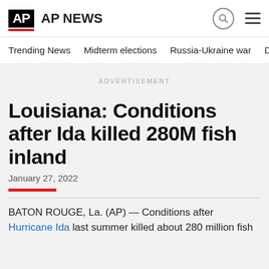AP | AP NEWS
Trending News   Midterm elections   Russia-Ukraine war   Dona
ADVERTISEMENT
Louisiana: Conditions after Ida killed 280M fish inland
January 27, 2022
BATON ROUGE, La. (AP) — Conditions after Hurricane Ida last summer killed about 280 million fish